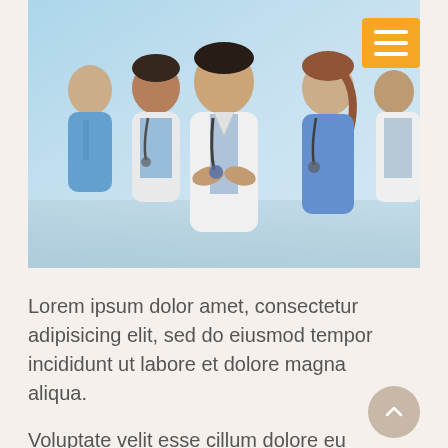[Figure (photo): Group of five medical professionals (doctors and nurses) smiling in a hospital setting. A male doctor in white coat with stethoscope and arms crossed stands in the center foreground. Others wear blue scrubs and white coats around him.]
Lorem ipsum dolor amet, consectetur adipisicing elit, sed do eiusmod tempor incididunt ut labore et dolore magna aliqua.
Voluptate velit esse cillum dolore eu fugiat nulla